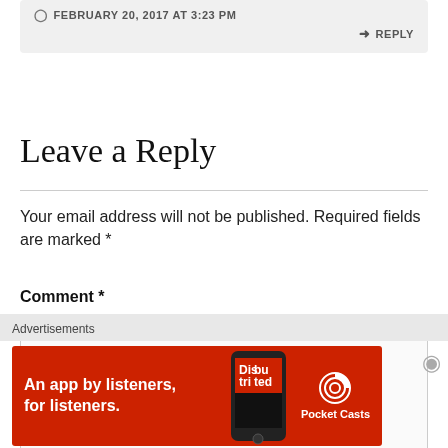FEBRUARY 20, 2017 AT 3:23 PM
REPLY
Leave a Reply
Your email address will not be published. Required fields are marked *
Comment *
[Figure (screenshot): Empty comment text area input box]
Advertisements
[Figure (illustration): Pocket Casts advertisement banner: red background, text 'An app by listeners, for listeners.' with phone image and Pocket Casts logo]